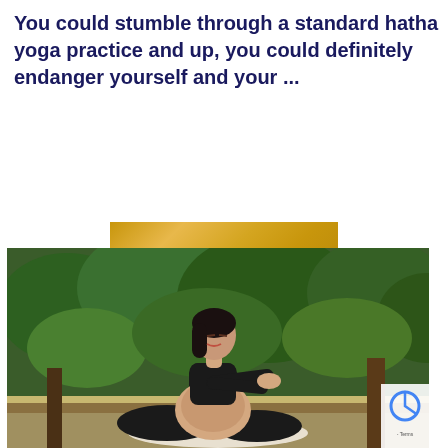You could stumble through a standard hatha yoga practice and up, you could definitely endanger yourself and your ...
[Figure (other): Gold/yellow rectangular button with white bold uppercase text 'READ MORE' and letter-spacing]
[Figure (photo): A pregnant Asian woman in black sportswear sitting cross-legged outdoors on a mat, stretching her arms forward with eyes closed, surrounded by green trees in a park setting]